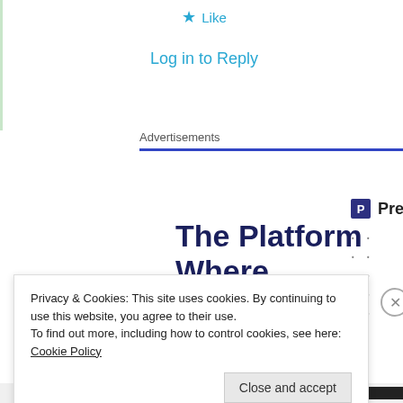★ Like
Log in to Reply
Advertisements
[Figure (logo): Pressable logo with icon and dotted separator]
The Platform Where WordPress Works Best
SEE PRICING
Privacy & Cookies: This site uses cookies. By continuing to use this website, you agree to their use. To find out more, including how to control cookies, see here: Cookie Policy
Close and accept